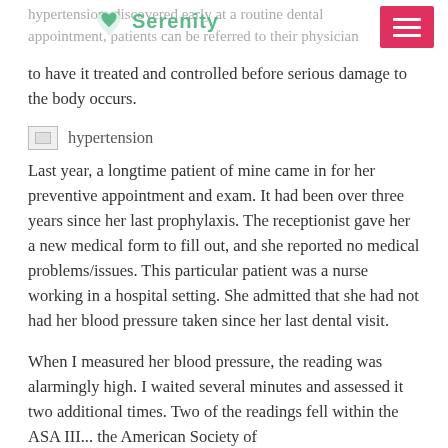hypertension, discovered early at a routine dental appointment, patients can be referred to their physician
to have it treated and controlled before serious damage to the body occurs.
[Figure (photo): Broken image placeholder for hypertension image with alt text 'hypertension']
Last year, a longtime patient of mine came in for her preventive appointment and exam. It had been over three years since her last prophylaxis. The receptionist gave her a new medical form to fill out, and she reported no medical problems/issues. This particular patient was a nurse working in a hospital setting. She admitted that she had not had her blood pressure taken since her last dental visit.
When I measured her blood pressure, the reading was alarmingly high. I waited several minutes and assessed it two additional times. Two of the readings fell within the ASA III... the American Society of...